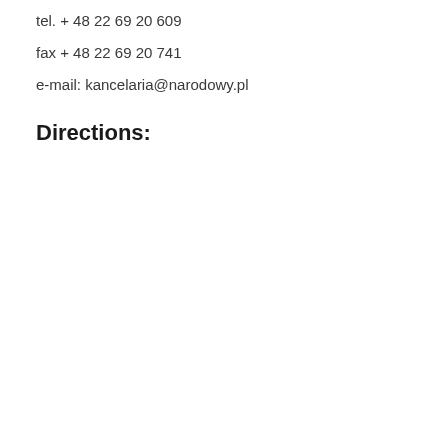tel. + 48 22 69 20 609
fax + 48 22 69 20 741
e-mail: kancelaria@narodowy.pl
Directions: